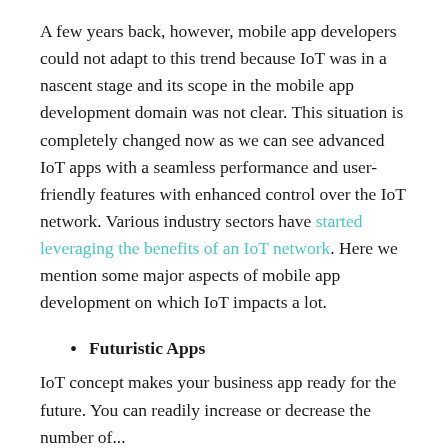A few years back, however, mobile app developers could not adapt to this trend because IoT was in a nascent stage and its scope in the mobile app development domain was not clear. This situation is completely changed now as we can see advanced IoT apps with a seamless performance and user-friendly features with enhanced control over the IoT network. Various industry sectors have started leveraging the benefits of an IoT network. Here we mention some major aspects of mobile app development on which IoT impacts a lot.
Futuristic Apps
IoT concept makes your business app ready for the future. You can readily increase or decrease the number of...